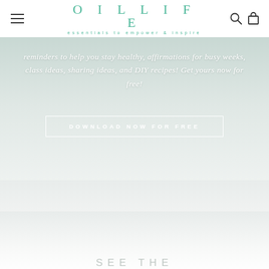OIL LIFE — essentials to empower & inspire
reminders to help you stay healthy, affirmations for busy weeks, class ideas, sharing ideas, and DIY recipes! Get yours now for free!
DOWNLOAD NOW FOR FREE
SEE THE